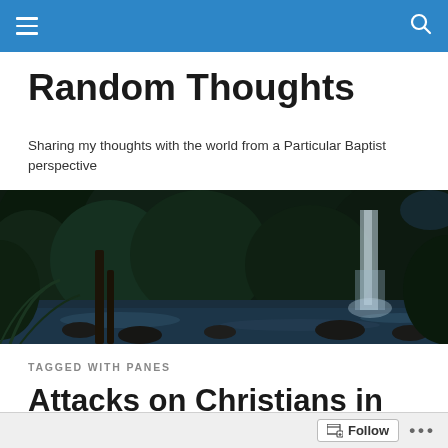Random Thoughts (navigation bar)
Random Thoughts
Sharing my thoughts with the world from a Particular Baptist perspective
[Figure (photo): Dark forest scene with a waterfall and rocky stream, lush green foliage, moody blue-green tones]
TAGGED WITH PANES
Attacks on Christians in